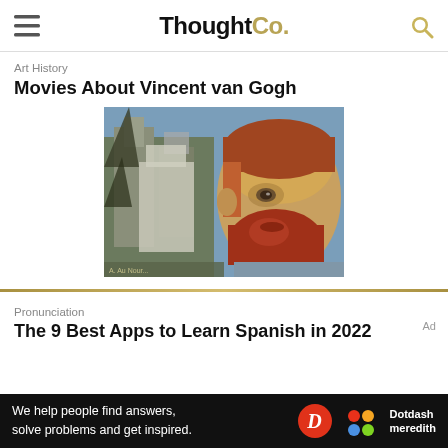ThoughtCo.
Art History
Movies About Vincent van Gogh
[Figure (illustration): Painting-style portrait of Vincent van Gogh with red beard, alongside a painted architectural background with buildings and towers in muted blues and grays.]
Pronunciation
The 9 Best Apps to Learn Spanish in 2022
[Figure (logo): Dotdash Meredith advertisement bar on black background: 'We help people find answers, solve problems and get inspired.' with Dotdash D logo and Dotdash meredith colorful dots logo.]